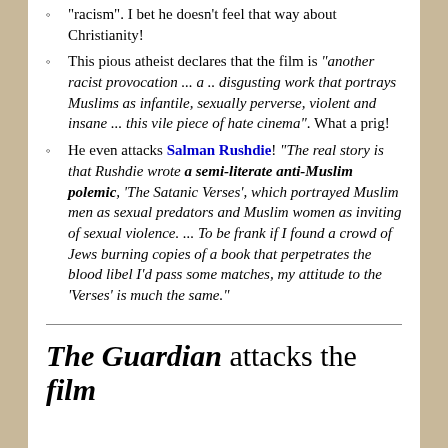"racism". I bet he doesn't feel that way about Christianity!
This pious atheist declares that the film is "another racist provocation ... a .. disgusting work that portrays Muslims as infantile, sexually perverse, violent and insane ... this vile piece of hate cinema". What a prig!
He even attacks Salman Rushdie! "The real story is that Rushdie wrote a semi-literate anti-Muslim polemic, 'The Satanic Verses', which portrayed Muslim men as sexual predators and Muslim women as inviting of sexual violence. ... To be frank if I found a crowd of Jews burning copies of a book that perpetrates the blood libel I'd pass some matches, my attitude to the 'Verses' is much the same."
The Guardian attacks the film